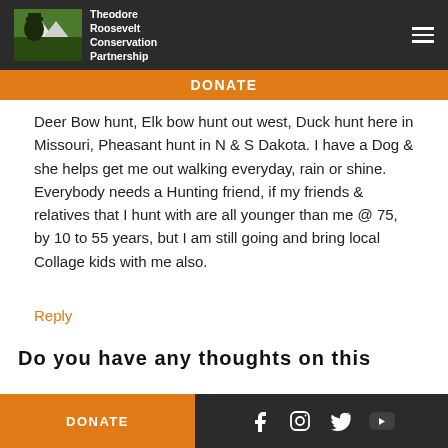Theodore Roosevelt Conservation Partnership
DONATE
Deer Bow hunt, Elk bow hunt out west, Duck hunt here in Missouri, Pheasant hunt in N & S Dakota. I have a Dog & she helps get me out walking everyday, rain or shine. Everybody needs a Hunting friend, if my friends & relatives that I hunt with are all younger than me @ 75, by 10 to 55 years, but I am still going and bring local Collage kids with me also.
Reply
Do you have any thoughts on this
DONATE